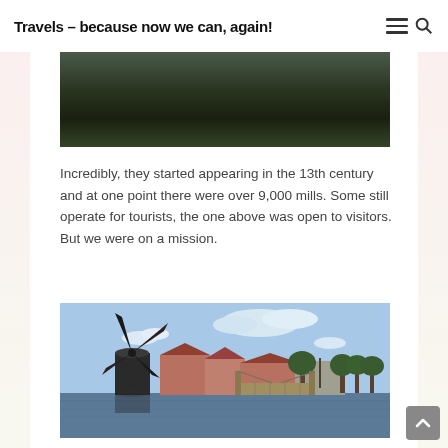Travels – because now we can, again!
[Figure (photo): Partial top photo showing dark water surface, cropped at top of page]
Incredibly, they started appearing in the 13th century and at one point there were over 9,000 mills. Some still operate for tourists, the one above was open to visitors. But we were on a mission.
[Figure (photo): A Dutch windmill beside a canal with a drawbridge, buildings and trees in background under a partly cloudy sky]